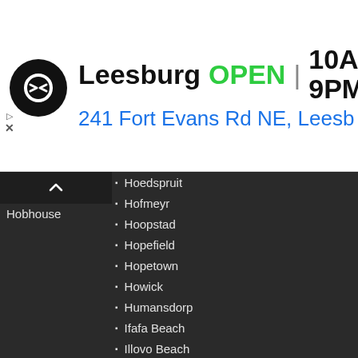[Figure (screenshot): Advertisement banner showing a business logo (black circle with double arrow icon), store name 'Leesburg', status 'OPEN', hours '10AM-9PM', address '241 Fort Evans Rd NE, Leesb', and a blue navigation/directions diamond icon. Also shows small ad controls (play and close buttons).]
Hobhouse
Hoedspruit
Hofmeyr
Hoopstad
Hopefield
Hopetown
Howick
Humansdorp
Ifafa Beach
Illovo Beach
Impendle
Inanda
Ingwavuma
Irene
Isando
Isipingo
Ixopo
Jacobsdal
Jagersfontein
Jan Kempdorp
Jansenville
Jeffreys Bay
Johannesburg